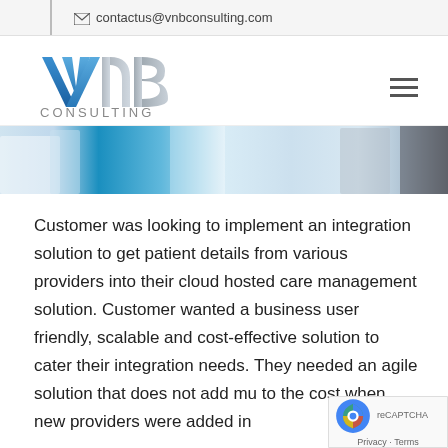contactus@vnbconsulting.com
[Figure (logo): VNB Consulting logo with blue stylized V and B letters and 'CONSULTING' text below]
[Figure (photo): Hero banner photo showing people in white lab coats or business attire, light blue tones]
Customer was looking to implement an integration solution to get patient details from various providers into their cloud hosted care management solution. Customer wanted a business user friendly, scalable and cost-effective solution to cater their integration needs. They needed an agile solution that does not add mu to the cost when new providers were added in